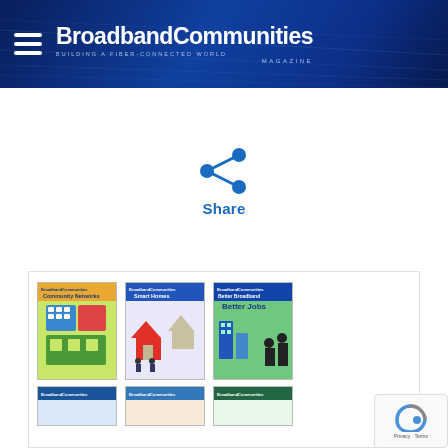BroadbandCommunities Magazine — BUILDING A FIBER-CONNECTED WORLD
[Figure (illustration): Share icon — blue network/share symbol with three circles connected]
Share
[Figure (illustration): Grid of BroadbandCommunities Magazine cover thumbnails — top row: Community Networks issue, Smart Homes issue, Better Broadband Better Jobs issue; bottom row: three additional issues partially visible]